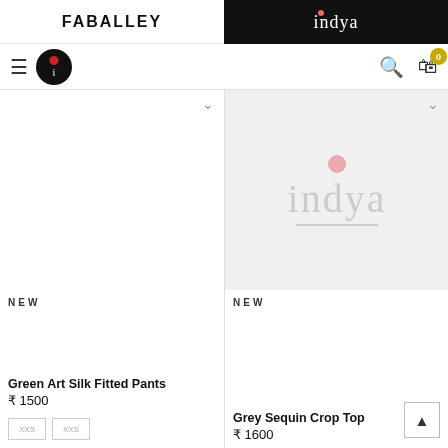FABALLEY | indya
[Figure (screenshot): Navigation bar with hamburger menu, indya logo icon, search and cart icons]
[Figure (photo): Left product image area - white background, no product image visible, chevron down arrow at top right]
[Figure (logo): Right product image area - light grey background with indya watermark logo (pink dot above grey 'indya' text with underline)]
NEW
NEW
Green Art Silk Fitted Pants
₹ 1500
Grey Sequin Crop Top
₹ 1600